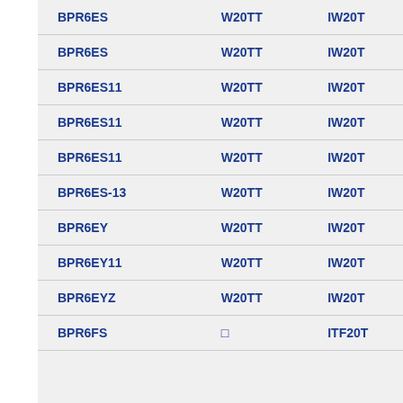| Part Number | Col2 | Col3 |
| --- | --- | --- |
| BPR6ES | W20TT | IW20T |
| BPR6ES | W20TT | IW20T |
| BPR6ES11 | W20TT | IW20T |
| BPR6ES11 | W20TT | IW20T |
| BPR6ES11 | W20TT | IW20T |
| BPR6ES-13 | W20TT | IW20T |
| BPR6EY | W20TT | IW20T |
| BPR6EY11 | W20TT | IW20T |
| BPR6EYZ | W20TT | IW20T |
| BPR6FS | □ | ITF20T |